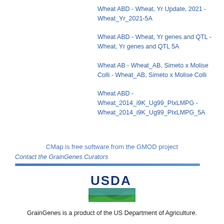Wheat ABD - Wheat, Yr Update, 2021 - Wheat_Yr_2021-5A
Wheat ABD - Wheat, Yr genes and QTL - Wheat, Yr genes and QTL 5A
Wheat AB - Wheat_AB, Simeto x Molise Colli - Wheat_AB, Simeto x Molise Colli
Wheat ABD - Wheat_2014_i9K_Ug99_PIxLMPG - Wheat_2014_i9K_Ug99_PIxLMPG_5A
CMap is free software from the GMOD project
Contact the GrainGenes Curators
[Figure (logo): USDA logo with landscape icon]
GrainGenes is a product of the US Department of Agriculture.